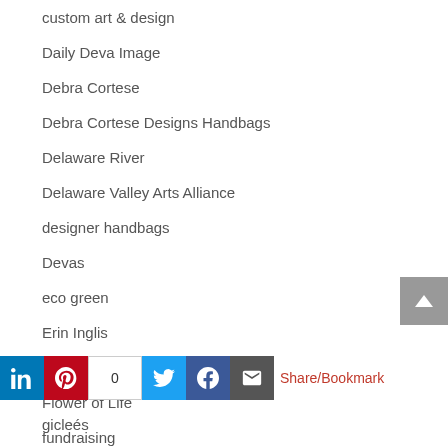custom art & design
Daily Deva Image
Debra Cortese
Debra Cortese Designs Handbags
Delaware River
Delaware Valley Arts Alliance
designer handbags
Devas
eco green
Erin Inglis
Florida Everglades
Flower of Life
fundraising
gicleés